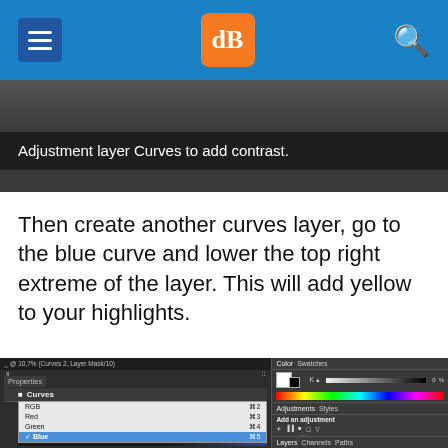dPS navigation header
[Figure (screenshot): Photoshop screenshot showing adjustment layer Curves panel to add contrast]
Adjustment layer Curves to add contrast.
Then create another curves layer, go to the blue curve and lower the top right extreme of the layer. This will add yellow to your highlights.
[Figure (screenshot): Photoshop interface showing Curves panel with Blue channel selected in dropdown, and Color/Adjustments/Layers panels on the right]